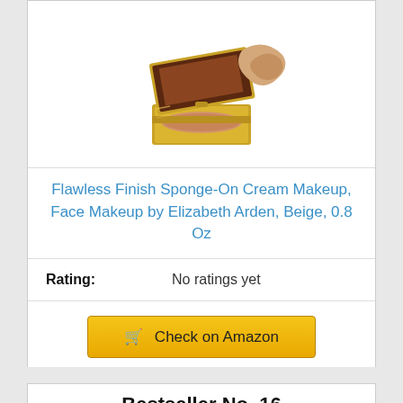[Figure (photo): Gold compact powder makeup case open with a sponge applicator showing beige face powder inside, and a smear of cream foundation next to it. Elizabeth Arden Flawless Finish product.]
Flawless Finish Sponge-On Cream Makeup, Face Makeup by Elizabeth Arden, Beige, 0.8 Oz
Rating: No ratings yet
Check on Amazon
Bestseller No. 16